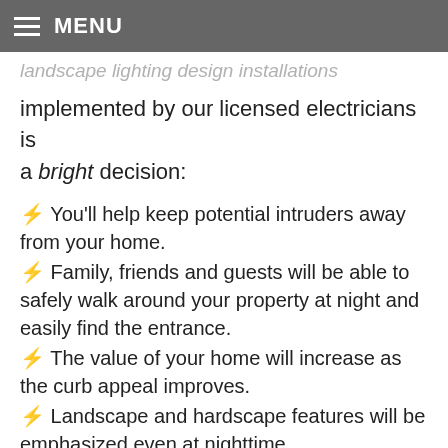MENU
implemented by our licensed electricians is a bright decision:
⚡ You'll help keep potential intruders away from your home.
⚡ Family, friends and guests will be able to safely walk around your property at night and easily find the entrance.
⚡ The value of your home will increase as the curb appeal improves.
⚡ Landscape and hardscape features will be emphasized even at nighttime
⚡ Hub-based, LED landscape lighting design wiring methods will reduce underground connections by 25 percent, cutting down on unnecessary maintenance and allowing for easy, no-dig repairs.